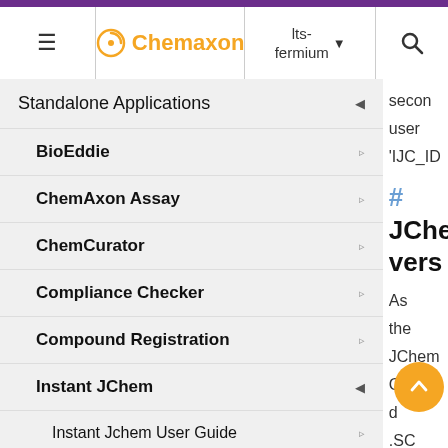Chemaxon | lts-fermium
Standalone Applications
BioEddie
ChemAxon Assay
ChemCurator
Compliance Checker
Compound Registration
Instant JChem
Instant Jchem User Guide
Instant JChem Administrator Gui...
secon user 'IJC_ID
# JChe vers
As the JChem Cartric d .SC instar